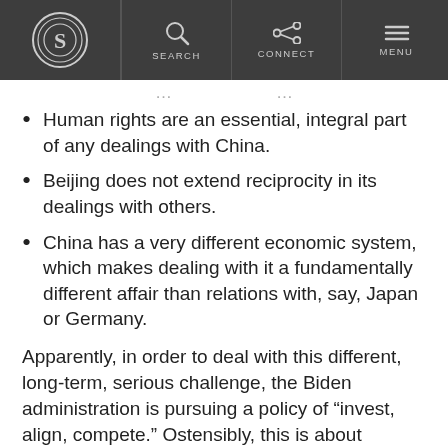S | SEARCH | CONNECT | MENU
Human rights are an essential, integral part of any dealings with China.
Beijing does not extend reciprocity in its dealings with others.
China has a very different economic system, which makes dealing with it a fundamentally different affair than relations with, say, Japan or Germany.
Apparently, in order to deal with this different, long-term, serious challenge, the Biden administration is pursuing a policy of “invest, align, compete.” Ostensibly, this is about investing in American